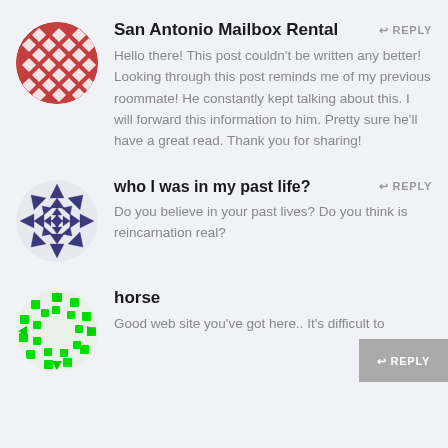[Figure (illustration): Red and white geometric quilt-pattern avatar in a circle]
San Antonio Mailbox Rental
REPLY
Hello there! This post couldn't be written any better! Looking through this post reminds me of my previous roommate! He constantly kept talking about this. I will forward this information to him. Pretty sure he'll have a great read. Thank you for sharing!
[Figure (illustration): Navy blue geometric starburst/pinwheel pattern avatar in a circle]
who I was in my past life?
REPLY
Do you believe in your past lives? Do you think is reincarnation real?
[Figure (illustration): Bright green dotted/pixel circular loading spinner avatar]
horse
REPLY
Good web site you've got here.. It's difficult to